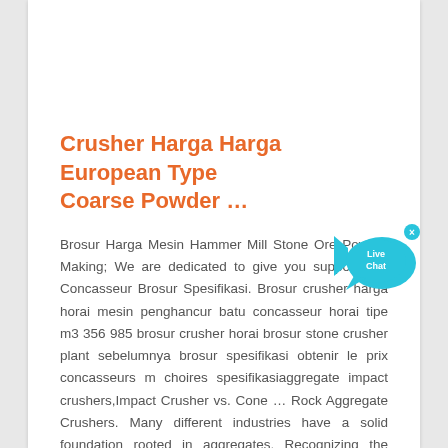Crusher Harga Harga European Type Coarse Powder …
Brosur Harga Mesin Hammer Mill Stone Ore Powder Making; We are dedicated to give you support. Vsi Concasseur Brosur Spesifikasi. Brosur crusher harga horai mesin penghancur batu concasseur horai tipe m3 356 985 brosur crusher horai brosur stone crusher plant sebelumnya brosur spesifikasi obtenir le prix concasseurs m choires spesifikasiaggregate impact crushers,Impact Crusher vs. Cone … Rock Aggregate Crushers. Many different industries have a solid foundation rooted in aggregates. Recognizing the extensive use of these aggregates motivates us to continuously create and improve our rock crushing equipment to help you increase production, decrease maintenance and improve the overall efficiency of your operation.
[Figure (other): Live Chat button with speech bubble and fish icon in cyan/blue color with close X button]